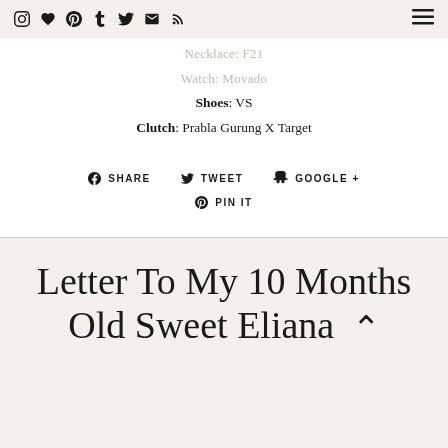[social icons] [hamburger menu]
Necklace: F21
Watch: Movado
Shoes: VS
Clutch: Prabla Gurung X Target
SHARE   TWEET   GOOGLE +   PIN IT
Letter To My 10 Months Old Sweet Eliana